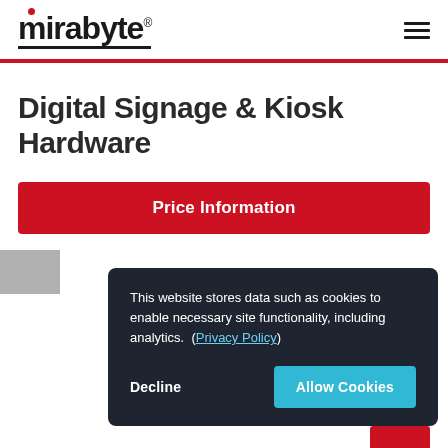mirabyte® [logo with hamburger menu]
Digital Signage & Kiosk Hardware
Price Information
This website stores data such as cookies to enable necessary site functionality, including analytics. (Privacy Policy)
Decline    Allow Cookies